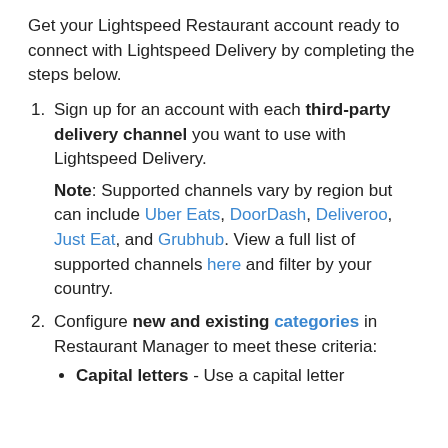Get your Lightspeed Restaurant account ready to connect with Lightspeed Delivery by completing the steps below.
1. Sign up for an account with each third-party delivery channel you want to use with Lightspeed Delivery. Note: Supported channels vary by region but can include Uber Eats, DoorDash, Deliveroo, Just Eat, and Grubhub. View a full list of supported channels here and filter by your country.
2. Configure new and existing categories in Restaurant Manager to meet these criteria:
Capital letters - Use a capital letter